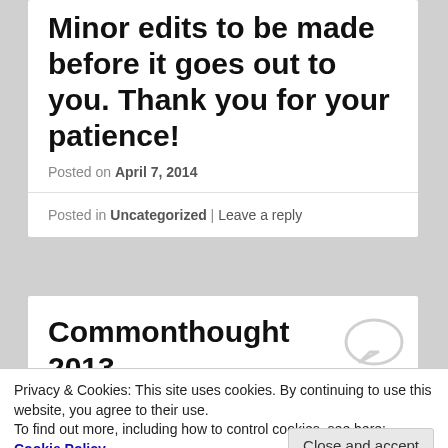Minor edits to be made before it goes out to you. Thank you for your patience!
Posted on April 7, 2014
Posted in Uncategorized | Leave a reply
Commonthought 2013
Posted on January 5, 2014
Privacy & Cookies: This site uses cookies. By continuing to use this website, you agree to their use. To find out more, including how to control cookies, see here: Cookie Policy
Close and accept